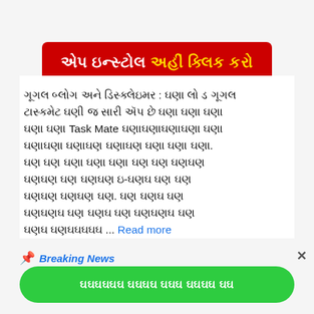[Figure (infographic): Red banner advertisement with Gujarati text 'એપ ઇન્સ્ટોલ' and yellow highlighted text 'અહીં ક્લિક કરો']
ગૂગલ બ્લોગ અને ડિસ્ક્લેઇમર : ઘણા લો ડ ગૂગલ Task Mate  ... Read more
Breaking News
[Figure (infographic): Green button with Gujarati text for app action]